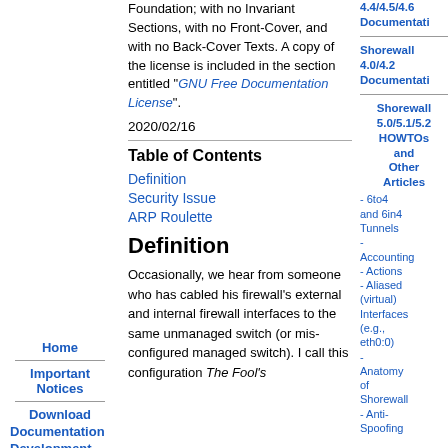Foundation; with no Invariant Sections, with no Front-Cover, and with no Back-Cover Texts. A copy of the license is included in the section entitled "GNU Free Documentation License".
2020/02/16
Table of Contents
Definition
Security Issue
ARP Roulette
Definition
Occasionally, we hear from someone who has cabled his firewall's external and internal firewall interfaces to the same unmanaged switch (or mis-configured managed switch). I call this configuration The Fool's
Home
Important Notices
Download
Documentation
Development
Support
Mirrors
Other Links
4.4/4.5/4.6 Documentation
Shorewall 4.0/4.2 Documentation
Shorewall 5.0/5.1/5.2 HOWTOs and Other Articles
- 6to4 and 6in4 Tunnels - Accounting - Actions - Aliased (virtual) Interfaces (e.g., eth0:0) - Anatomy of Shorewall - Anti-Spoofing